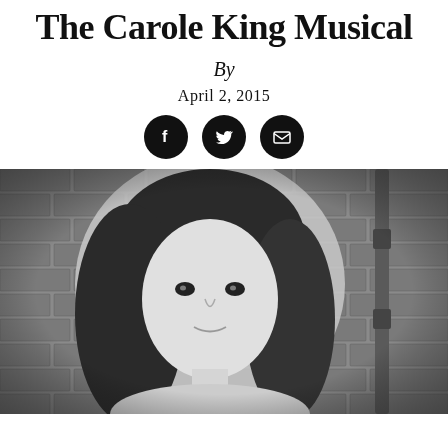The Carole King Musical
By
April 2, 2015
[Figure (other): Social media share icons: Facebook, Twitter, Email in black circles]
[Figure (photo): Black and white portrait photograph of a young woman with long dark wavy hair, wearing minimal makeup, with a brick wall background and pipes visible on the right side.]